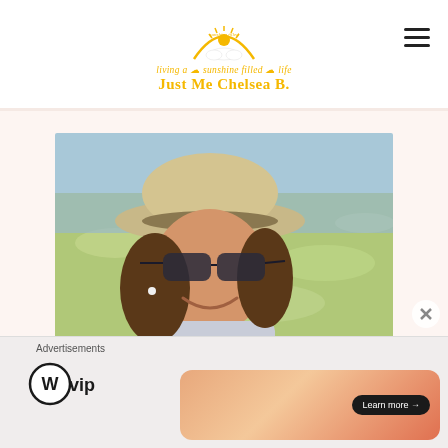[Figure (logo): Just Me Chelsea B. blog logo with sunshine illustration and tagline 'living a sunshine filled life']
[Figure (photo): Woman wearing wide-brim straw hat and sunglasses smiling at camera, shallow clear water in background with sunlight reflections]
Advertisements
[Figure (logo): WordPress VIP logo]
[Figure (screenshot): Advertisement banner with orange/peach gradient and 'Learn more' button]